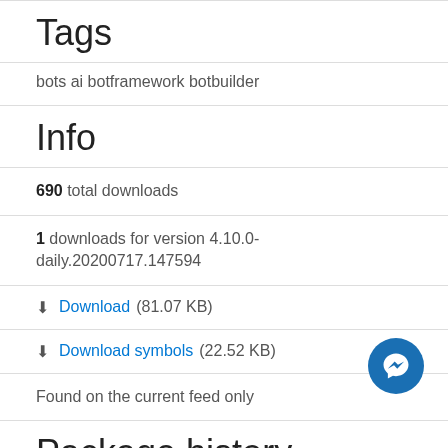Tags
bots ai botframework botbuilder
Info
690 total downloads
1 downloads for version 4.10.0-daily.20200717.147594
↧ Download (81.07 KB)
↧ Download symbols (22.52 KB)
Found on the current feed only
Package history